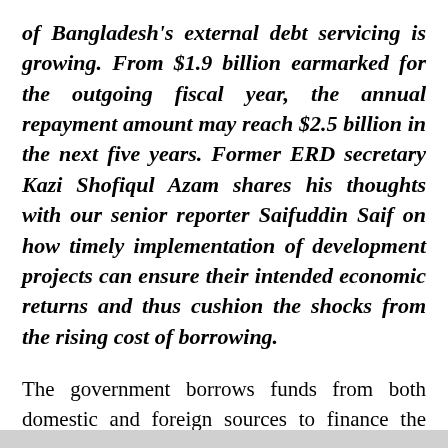of Bangladesh's external debt servicing is growing. From $1.9 billion earmarked for the outgoing fiscal year, the annual repayment amount may reach $2.5 billion in the next five years. Former ERD secretary Kazi Shofiqul Azam shares his thoughts with our senior reporter Saifuddin Saif on how timely implementation of development projects can ensure their intended economic returns and thus cushion the shocks from the rising cost of borrowing.
The government borrows funds from both domestic and foreign sources to finance the national budget.
Interest rates on foreign loans are much lower when compared to domestic loans. But, Bangladesh's